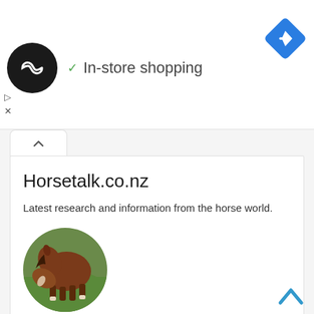[Figure (screenshot): Ad banner with black circle logo, checkmark and 'In-store shopping' text, blue diamond navigation icon, and small ad control icons]
[Figure (screenshot): Tab button with up chevron icon]
Horsetalk.co.nz
Latest research and information from the horse world.
[Figure (photo): Circular photo of a brown foal grazing on green grass]
Leave a Reply
Your email address will not be published. Required fields